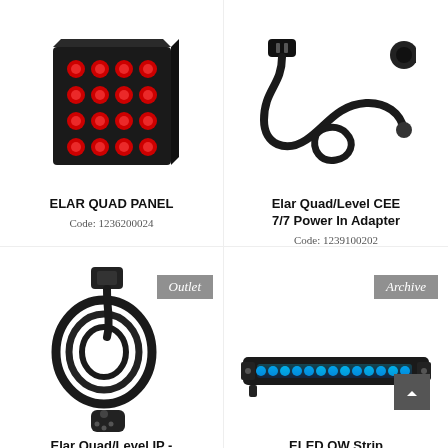[Figure (photo): ELAR QUAD PANEL – a black LED panel fixture with 16 red LED lights arranged in a 4x4 grid]
ELAR QUAD PANEL
Code: 1236200024
[Figure (photo): Elar Quad/Level CEE 7/7 Power In Adapter – a black power cable coiled with plug and cap]
Elar Quad/Level CEE 7/7 Power In Adapter
Code: 1239100202
[Figure (photo): Elar Quad/Level IP – a coiled black cable with XLR connectors, labeled Outlet]
Elar Quad/Level IP -
[Figure (photo): ELED QW Strip – a long linear LED bar fixture glowing blue, labeled Archive]
ELED QW Strip